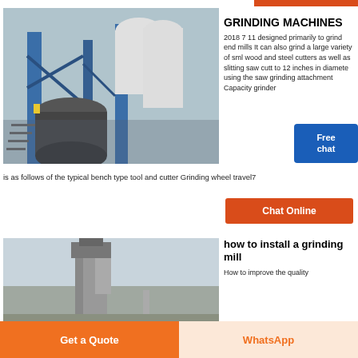[Figure (photo): Industrial grinding machine / mill at a factory, featuring large pipes, blue steel structure, and a cylindrical grinding unit with stairs]
GRINDING MACHINES
2018 7 11 designed primarily to grind end mills It can also grind a large variety of small wood and steel cutters as well as slitting saw cutters to 12 inches in diameter using the saw grinding attachment Capacity grinder is as follows of the typical bench type tool and cutter Grinding wheel travel7
[Figure (other): Blue chat badge with text: Free chat]
[Figure (photo): Chat Online button — red/orange rectangle]
[Figure (photo): Industrial grinding mill installation, tall structure against a cloudy sky]
how to install a grinding mill
How to improve the quality
Get a Quote
WhatsApp